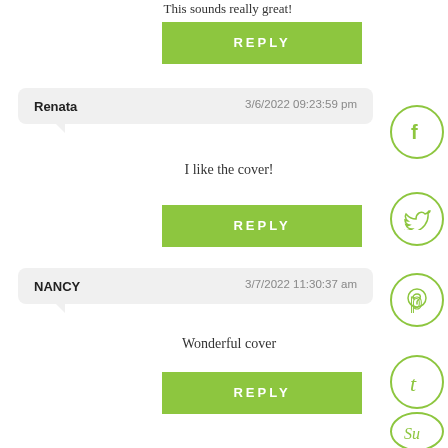This sounds really great!
REPLY
Renata   3/6/2022 09:23:59 pm
I like the cover!
REPLY
NANCY   3/7/2022 11:30:37 am
Wonderful cover
REPLY